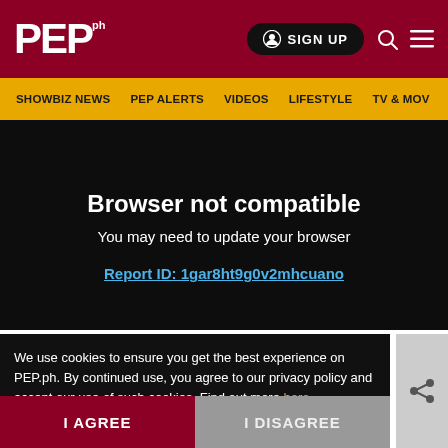[Figure (screenshot): PEP.ph website header with dark red background, white PEP logo, Sign Up button, search and menu icons]
SHOWBIZ NEWS   PEP ALERTS   VIDEOS   LIFESTYLE   TV & MOV
Browser not compatible
You may need to update your browser
Report ID: 1gar8ht9g0v2mhcuano
We use cookies to ensure you get the best experience on PEP.ph. By continued use, you agree to our privacy policy and accept our use of such cookies. Find out more here.